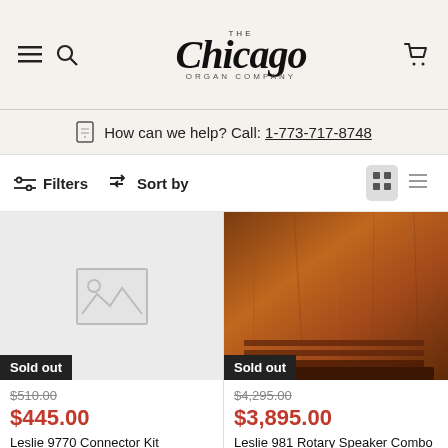The Chicago Organ Company — How can we help? Call: 1-773-717-8748
Filters  Sort by
[Figure (photo): Product card: Leslie 9770 Connector Kit — image placeholder with Sold out badge, original price $510.00, sale price $445.00]
[Figure (photo): Product card: Leslie 981 Rotary Speaker Combo Amplifier - Red Walnut — wooden cabinet photo with Sold out badge, original price $4,295.00, sale price $3,895.00]